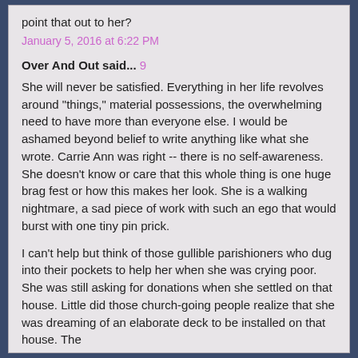point that out to her?
January 5, 2016 at 6:22 PM
Over And Out said... 9
She will never be satisfied. Everything in her life revolves around "things," material possessions, the overwhelming need to have more than everyone else. I would be ashamed beyond belief to write anything like what she wrote. Carrie Ann was right -- there is no self-awareness. She doesn't know or care that this whole thing is one huge brag fest or how this makes her look. She is a walking nightmare, a sad piece of work with such an ego that would burst with one tiny pin prick.
I can't help but think of those gullible parishioners who dug into their pockets to help her when she was crying poor. She was still asking for donations when she settled on that house. Little did those church-going people realize that she was dreaming of an elaborate deck to be installed on that house. The